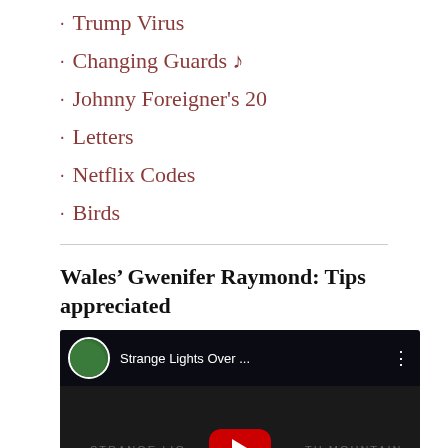Trump Virus
Changing Guards ♪
Johnny Foreigner's 20
Letters
Netflix Codes
Birds
Wales' Gwenifer Raymond: Tips appreciated
[Figure (screenshot): YouTube video thumbnail for 'Strange Lights Over ...' with a red play button in the center, video header showing channel avatar and title, dark background with overlay text.]